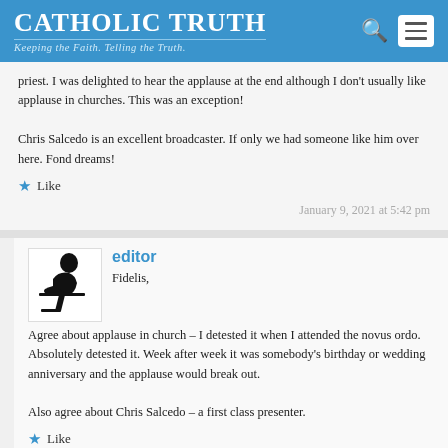Catholic Truth — Keeping the Faith. Telling the Truth.
priest. I was delighted to hear the applause at the end although I don't usually like applause in churches. This was an exception!

Chris Salcedo is an excellent broadcaster. If only we had someone like him over here. Fond dreams!
Like
January 9, 2021 at 5:42 pm
editor
Fidelis,
Agree about applause in church – I detested it when I attended the novus ordo. Absolutely detested it. Week after week it was somebody's birthday or wedding anniversary and the applause would break out.

Also agree about Chris Salcedo – a first class presenter.
Like